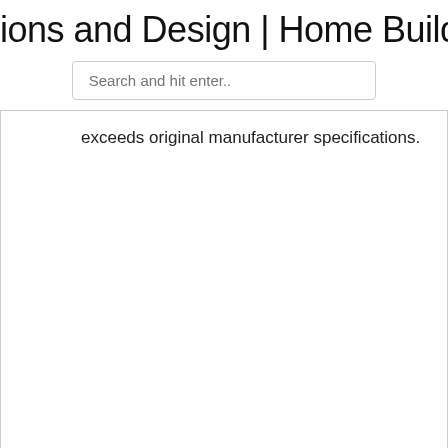ions and Design | Home Building | H
Search and hit enter..
exceeds original manufacturer specifications.